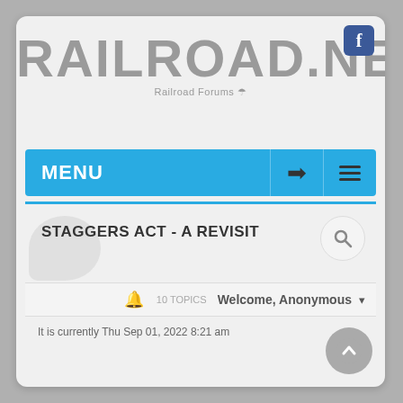[Figure (screenshot): Railroad.NET website screenshot showing logo, navigation menu, forum post title, and welcome bar]
RAILROAD.NET
Railroad Forums
MENU
STAGGERS ACT - A REVISIT
Welcome, Anonymous
It is currently Thu Sep 01, 2022 8:21 am